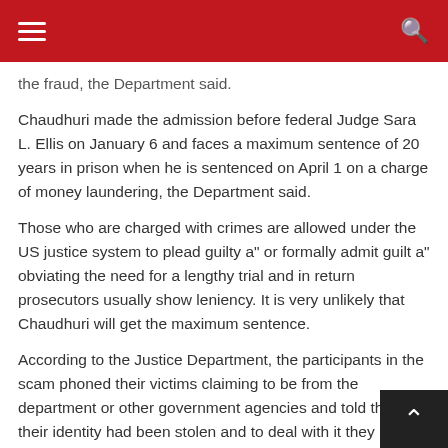the fraud, the Department said.
Chaudhuri made the admission before federal Judge Sara L. Ellis on January 6 and faces a maximum sentence of 20 years in prison when he is sentenced on April 1 on a charge of money laundering, the Department said.
Those who are charged with crimes are allowed under the US justice system to plead guilty a" or formally admit guilt a" obviating the need for a lengthy trial and in return prosecutors usually show leniency. It is very unlikely that Chaudhuri will get the maximum sentence.
According to the Justice Department, the participants in the scam phoned their victims claiming to be from the department or other government agencies and told them their identity had been stolen and to deal with it they had